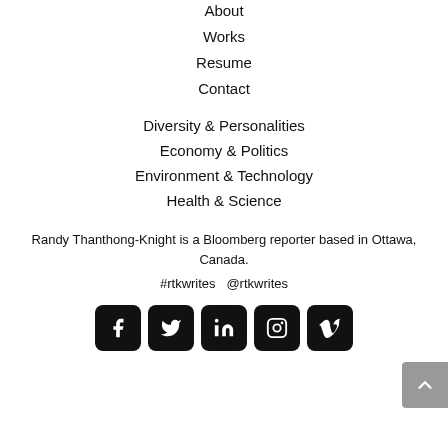About
Works
Resume
Contact
Diversity & Personalities
Economy & Politics
Environment & Technology
Health & Science
Randy Thanthong-Knight is a Bloomberg reporter based in Ottawa, Canada.
#rtkwrites  @rtkwrites
[Figure (other): Social media icons: Facebook, Twitter, LinkedIn, Instagram, Vimeo]